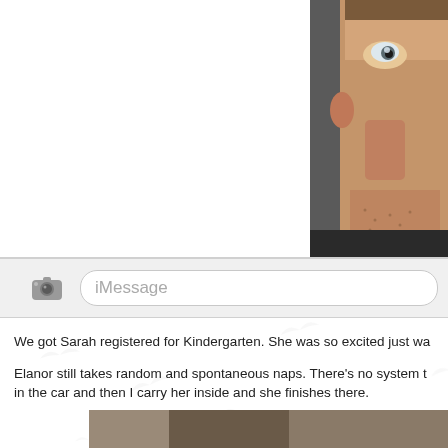[Figure (photo): Close-up photo of a man's face, cropped, taking a selfie. Visible eye and lower face with stubble.]
[Figure (screenshot): iMessage input bar with camera icon on left and iMessage placeholder text in rounded text field.]
We got Sarah registered for Kindergarten. She was so excited just wa
Elanor still takes random and spontaneous naps. There's no system t in the car and then I carry her inside and she finishes there.
[Figure (photo): Partial photo visible at bottom of page, appears to be a person or scene, cropped.]